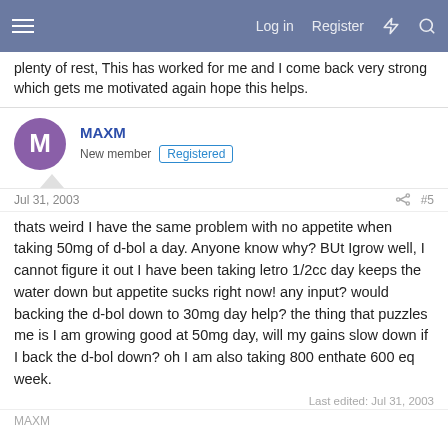Log in  Register
plenty of rest, This has worked for me and I come back very strong which gets me motivated again hope this helps.
MAXM
New member  Registered
Jul 31, 2003  #5
thats weird I have the same problem with no appetite when taking 50mg of d-bol a day. Anyone know why? BUt Igrow well, I cannot figure it out I have been taking letro 1/2cc day keeps the water down but appetite sucks right now! any input? would backing the d-bol down to 30mg day help? the thing that puzzles me is I am growing good at 50mg day, will my gains slow down if I back the d-bol down? oh I am also taking 800 enthate 600 eq week.
Last edited: Jul 31, 2003
MAXM